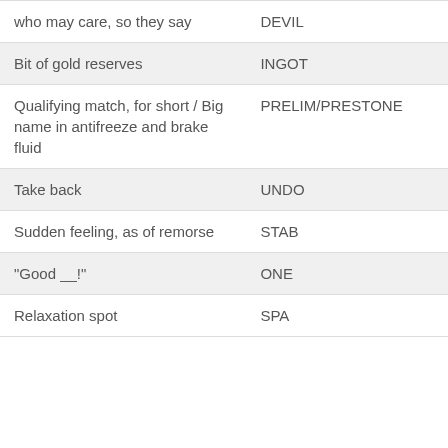| Clue | Answer |
| --- | --- |
| who may care, so they say | DEVIL |
| Bit of gold reserves | INGOT |
| Qualifying match, for short / Big name in antifreeze and brake fluid | PRELIM/PRESTONE |
| Take back | UNDO |
| Sudden feeling, as of remorse | STAB |
| "Good __!" | ONE |
| Relaxation spot | SPA |